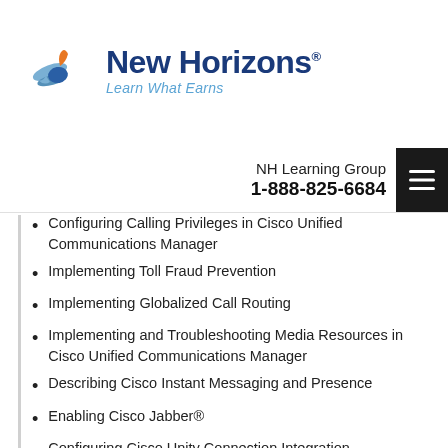[Figure (logo): New Horizons logo with bird/wings icon in blue and orange, text 'New Horizons' in dark blue bold, tagline 'Learn What Earns' in lighter blue italic]
NH Learning Group
1-888-825-6684
Configuring Calling Privileges in Cisco Unified Communications Manager
Implementing Toll Fraud Prevention
Implementing Globalized Call Routing
Implementing and Troubleshooting Media Resources in Cisco Unified Communications Manager
Describing Cisco Instant Messaging and Presence
Enabling Cisco Jabber®
Configuring Cisco Unity Connection Integration